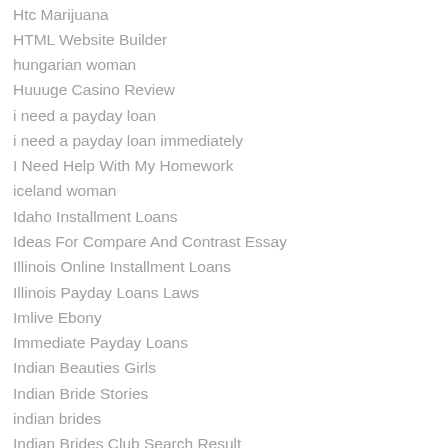Htc Marijuana
HTML Website Builder
hungarian woman
Huuuge Casino Review
i need a payday loan
i need a payday loan immediately
I Need Help With My Homework
iceland woman
Idaho Installment Loans
Ideas For Compare And Contrast Essay
Illinois Online Installment Loans
Illinois Payday Loans Laws
Imlive Ebony
Immediate Payday Loans
Indian Beauties Girls
Indian Bride Stories
indian brides
Indian Brides Club Search Result